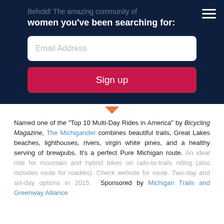Behold! The amazing community of
women you've been searching for:
[Figure (screenshot): Email Address input field (white rounded rectangle) and Sign up button (dark pink/crimson rounded rectangle) on a dark navy background, part of an email signup form.]
Named one of the "Top 10 Multi-Day Rides in America" by Bicycling Magazine, The Michigander combines beautiful trails, Great Lakes beaches, lighthouses, rivers, virgin white pines, and a healthy serving of brewpubs. It's a perfect Pure Michigan route. An ideal ride for mountain and hybrid bikes on rails-to-trails riding (also includes route for roadies). Check website for route. Two-day and six-day options in 2015. Sponsored by Michigan Trails and Greenway Alliance